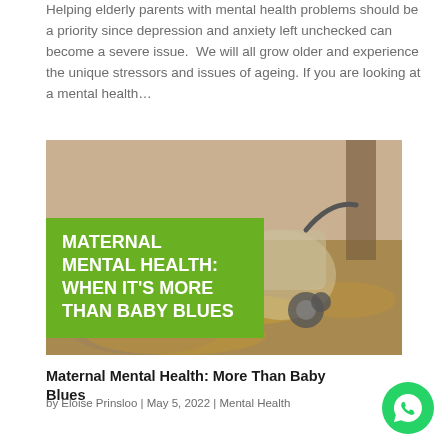Helping elderly parents with mental health problems should be a priority since depression and anxiety left unchecked can become a severe issue. We will all grow older and experience the unique stressors and issues of ageing. If you are looking at a mental health...
[Figure (photo): Photo of a baby pram/stroller outdoors on a path covered with autumn leaves, with a green overlay box containing white bold text: MATERNAL MENTAL HEALTH: WHEN IT'S MORE THAN BABY BLUES]
Maternal Mental Health: More Than Baby Blues
by Eloise Prinsloo | May 5, 2022 | Mental Health